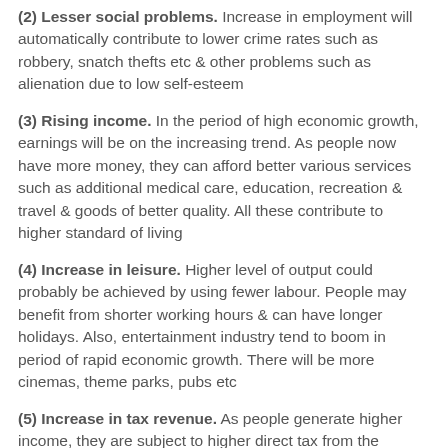(2) Lesser social problems. Increase in employment will automatically contribute to lower crime rates such as robbery, snatch thefts etc & other problems such as alienation due to low self-esteem
(3) Rising income. In the period of high economic growth, earnings will be on the increasing trend. As people now have more money, they can afford better various services such as additional medical care, education, recreation & travel & goods of better quality. All these contribute to higher standard of living
(4) Increase in leisure. Higher level of output could probably be achieved by using fewer labour. People may benefit from shorter working hours & can have longer holidays. Also, entertainment industry tend to boom in period of rapid economic growth. There will be more cinemas, theme parks, pubs etc
(5) Increase in tax revenue. As people generate higher income, they are subject to higher direct tax from the government e.g. income tax. Firms will generate greater